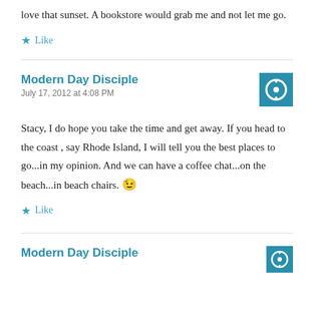love that sunset. A bookstore would grab me and not let me go.
★ Like
Modern Day Disciple
July 17, 2012 at 4:08 PM
Stacy, I do hope you take the time and get away. If you head to the coast , say Rhode Island, I will tell you the best places to go...in my opinion. And we can have a coffee chat...on the beach...in beach chairs. 😉
★ Like
Modern Day Disciple